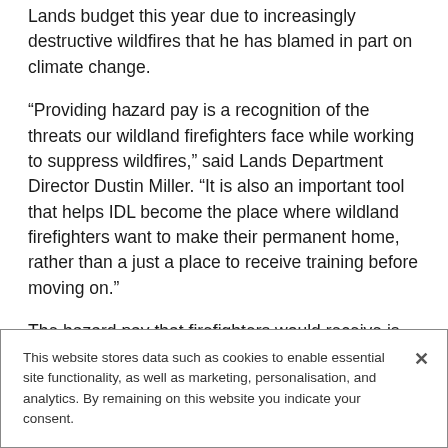Lands budget this year due to increasingly destructive wildfires that he has blamed in part on climate change.
“Providing hazard pay is a recognition of the threats our wildland firefighters face while working to suppress wildfires,” said Lands Department Director Dustin Miller. “It is also an important tool that helps IDL become the place where wildland firefighters want to make their permanent home, rather than a just a place to receive training before moving on.”
The hazard pay that firefighters would receive is
This website stores data such as cookies to enable essential site functionality, as well as marketing, personalisation, and analytics. By remaining on this website you indicate your consent.